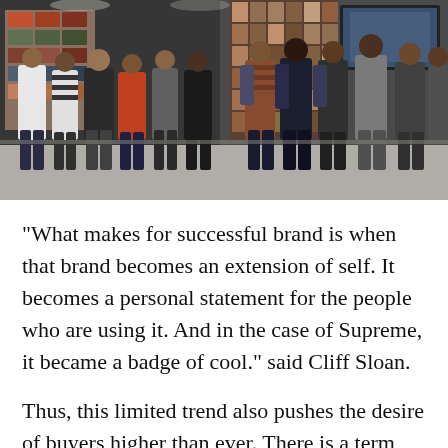[Figure (photo): Crowd of people standing outside what appears to be a Supreme or streetwear retail store, with shelves of products visible in the background. People are wearing casual streetwear and backpacks.]
“What makes for successful brand is when that brand becomes an extension of self. It becomes a personal statement for the people who are using it. And in the case of Supreme, it became a badge of cool.” said Cliff Sloan.
Thus, this limited trend also pushes the desire of buyers higher than ever. There is a term called FOMO- fear of missing out- can describe this fascination. Everyone that is affected by this FOMO